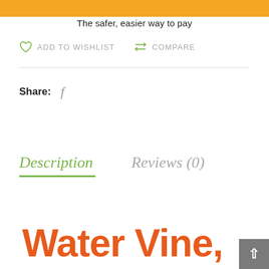[Figure (other): PayPal payment button bar (yellow/orange background)]
The safer, easier way to pay
ADD TO WISHLIST   COMPARE
Share:
Description
Reviews (0)
Water Vine,